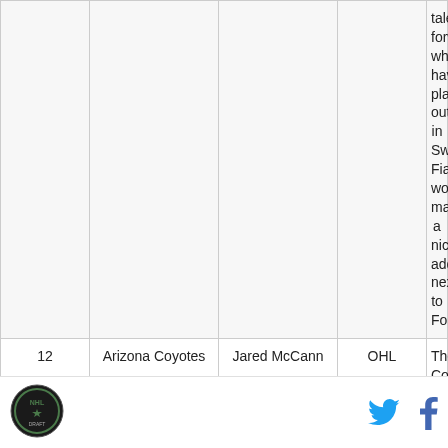| # | Team | Player | League | Analysis |
| --- | --- | --- | --- | --- |
|  |  |  |  | talented forwards who have played out in Sweden. Fiala would make a nice addition next to Forsberg. |
| 12 | Arizona Coyotes | Jared McCann | OHL | The Coyotes go for the best centerman still on the board and who makes their prospect strength up the middle even more dangerous. McCann does it all the Coyotes are more than happy to take... |
[logo] [Twitter] [Facebook]